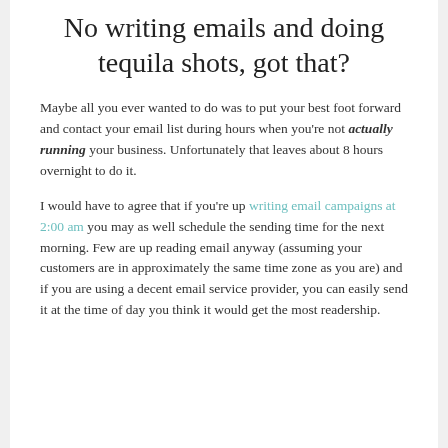No writing emails and doing tequila shots, got that?
Maybe all you ever wanted to do was to put your best foot forward and contact your email list during hours when you're not actually running your business. Unfortunately that leaves about 8 hours overnight to do it.
I would have to agree that if you're up writing email campaigns at 2:00 am you may as well schedule the sending time for the next morning. Few are up reading email anyway (assuming your customers are in approximately the same time zone as you are) and if you are using a decent email service provider, you can easily send it at the time of day you think it would get the most readership.